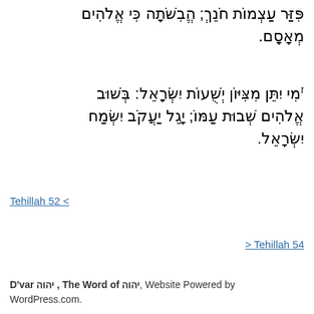פִּזַּר עַצְמוֹת חֹנֵךְ; הֱבִשֹׁתָה כִּי אֱלֹהִים מְאָסָם.
זמִי יִתֵּן מִצִּיּוֹן יְשֻׁעוֹת יִשְׂרָאֵל: בְּשׁוּב אֱלֹהִים שְׁבוּת עַמּוֹ; יָגֵל יַעֲקֹב יִשְׂמַח יִשְׂרָאֵל.
< Tehillah 52
> Tehillah 54
D'var יהוה , The Word of יהוה, Website Powered by WordPress.com.